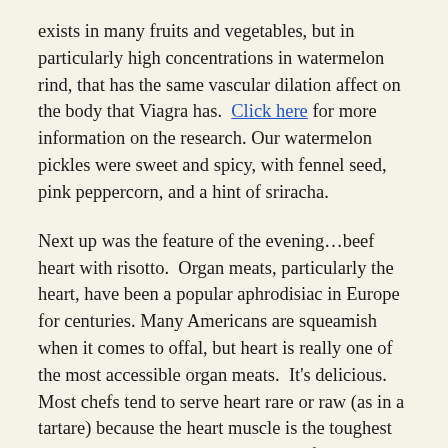exists in many fruits and vegetables, but in particularly high concentrations in watermelon rind, that has the same vascular dilation affect on the body that Viagra has. Click here for more information on the research. Our watermelon pickles were sweet and spicy, with fennel seed, pink peppercorn, and a hint of sriracha.
Next up was the feature of the evening…beef heart with risotto. Organ meats, particularly the heart, have been a popular aphrodisiac in Europe for centuries. Many Americans are squeamish when it comes to offal, but heart is really one of the most accessible organ meats. It's delicious. Most chefs tend to serve heart rare or raw (as in a tartare) because the heart muscle is the toughest muscle in the body. It never relaxes from birth to death! So it tends to be VERY lean with tight fibers. We get around this by brining the heart for 24 hours, and then vacuum sealing it with lots of duck and pork fat and cooking it in the